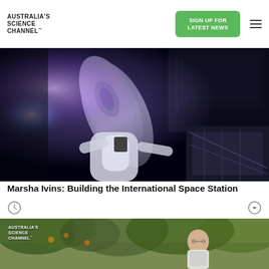AUSTRALIA'S SCIENCE CHANNEL™
[Figure (screenshot): Screenshot of Australia's Science Channel website showing header with logo, green 'SIGN UP FOR LATEST NEWS' button, and hamburger menu icon]
[Figure (photo): Photograph of astronaut performing spacewalk or EVA near International Space Station module, dark space background with glowing purple/blue light effects]
Marsha Ivins: Building the International Space Station
[Figure (photo): Photograph showing Australia's Science Channel branding overlay with an elderly man outdoors near trees]